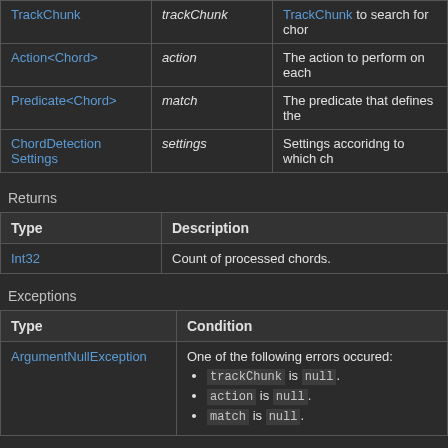| Type | Parameter | Description |
| --- | --- | --- |
| TrackChunk | trackChunk | TrackChunk to search for cho… |
| Action<Chord> | action | The action to perform on each… |
| Predicate<Chord> | match | The predicate that defines the… |
| ChordDetectionSettings | settings | Settings accoridng to which ch… |
Returns
| Type | Description |
| --- | --- |
| Int32 | Count of processed chords. |
Exceptions
| Type | Condition |
| --- | --- |
| ArgumentNullException | One of the following errors occured:
• trackChunk is null.
• action is null.
• match is null. |